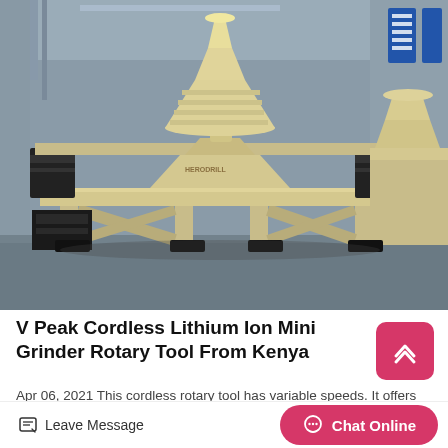[Figure (photo): Large industrial cone crusher / sand making machine in beige/cream color displayed on a factory floor. Multiple units visible in background. Industrial warehouse setting with blue signage.]
V Peak Cordless Lithium Ion Mini Grinder Rotary Tool From Kenya
Apr 06, 2021 This cordless rotary tool has variable speeds. It offers superior performance and versatility. This Dremel 8220...